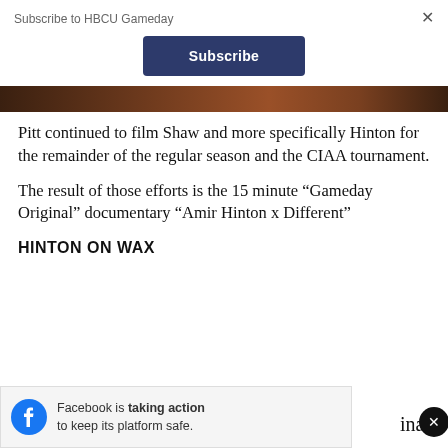Subscribe to HBCU Gameday
Subscribe
[Figure (photo): Partial image strip showing dark reddish-brown tones, top of a photo]
Pitt continued to film Shaw and more specifically Hinton for the remainder of the regular season and the CIAA tournament.
The result of those efforts is the 15 minute “Gameday Original” documentary “Amir Hinton x Different”
HINTON ON WAX
Facebook is taking action to keep its platform safe.
inal